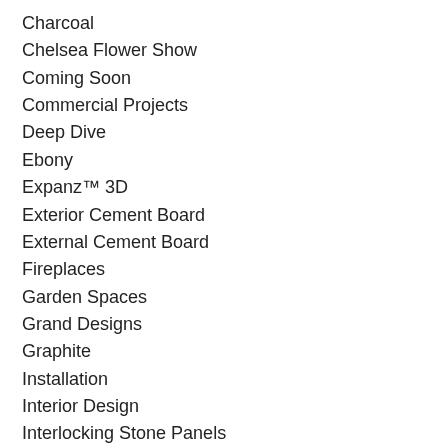Charcoal
Chelsea Flower Show
Coming Soon
Commercial Projects
Deep Dive
Ebony
Expanz™ 3D
Exterior Cement Board
External Cement Board
Fireplaces
Garden Spaces
Grand Designs
Graphite
Installation
Interior Design
Interlocking Stone Panels
Kitchens
Knauf
Laticrete
Lava Stone
Lunia™